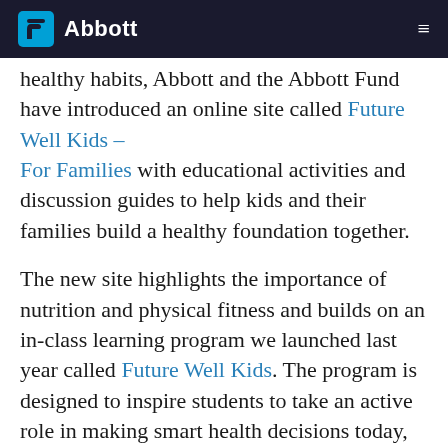Abbott
healthy habits, Abbott and the Abbott Fund have introduced an online site called Future Well Kids – For Families with educational activities and discussion guides to help kids and their families build a healthy foundation together.
The new site highlights the importance of nutrition and physical fitness and builds on an in-class learning program we launched last year called Future Well Kids. The program is designed to inspire students to take an active role in making smart health decisions today, so they can reduce their risk of developing chronic diseases (also called noncommunicable diseases, or NCDs) like diabetes